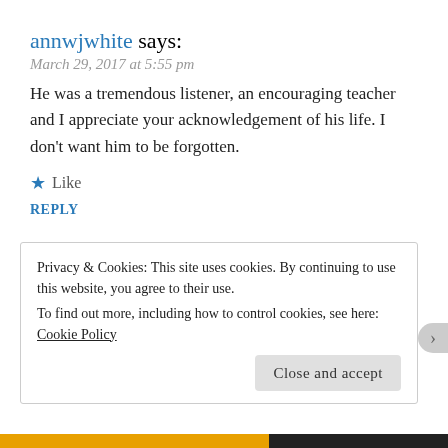annwjwhite says:
March 29, 2017 at 5:55 pm
He was a tremendous listener, an encouraging teacher and I appreciate your acknowledgement of his life. I don't want him to be forgotten.
★ Like
REPLY
Dede Lovejoy says:
Privacy & Cookies: This site uses cookies. By continuing to use this website, you agree to their use.
To find out more, including how to control cookies, see here:
Cookie Policy
Close and accept